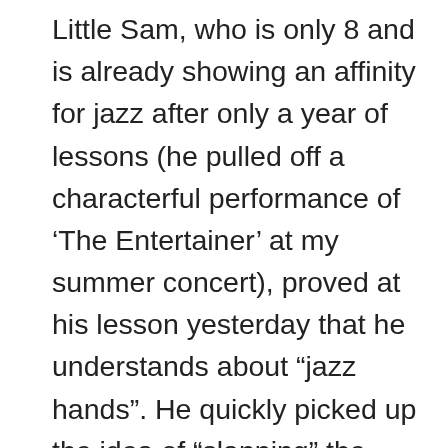Little Sam, who is only 8 and is already showing an affinity for jazz after only a year of lessons (he pulled off a characterful performance of ‘The Entertainer’ at my summer concert), proved at his lesson yesterday that he understands about “jazz hands”. He quickly picked up the idea of “slapping” the keys, lifting his hand off the keyboard momentarily before allowing it to fall heavily onto an E flat, thus emphasising the syncopation in the bar (he’s learning a piece called ‘Homework Blues’). Later, when I was looking at the opening of Gershwin’s first Prelude, I found myself doing exactly the same